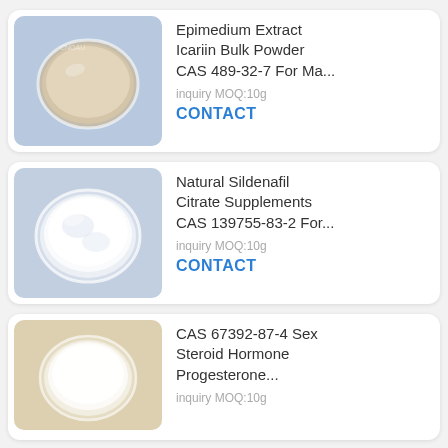[Figure (photo): Epimedium Extract Icariin powder in a petri dish on a blue-grey background]
Epimedium Extract Icariin Bulk Powder CAS 489-32-7 For Ma...
inquiry MOQ:10g
CONTACT
[Figure (photo): Natural Sildenafil Citrate white powder in a petri dish on a light blue background]
Natural Sildenafil Citrate Supplements CAS 139755-83-2 For...
inquiry MOQ:10g
CONTACT
[Figure (photo): Progesterone white powder in a petri dish on a tan/beige background]
CAS 67392-87-4 Sex Steroid Hormone Progesterone...
inquiry MOQ:10g